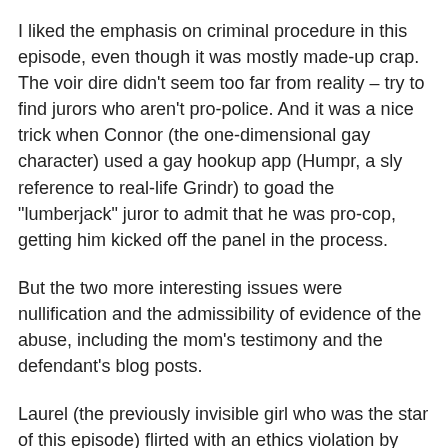I liked the emphasis on criminal procedure in this episode, even though it was mostly made-up crap. The voir dire didn't seem too far from reality – try to find jurors who aren't pro-police. And it was a nice trick when Connor (the one-dimensional gay character) used a gay hookup app (Humpr, a sly reference to real-life Grindr) to goad the "lumberjack" juror to admit that he was pro-cop, getting him kicked off the panel in the process.
But the two more interesting issues were nullification and the admissibility of evidence of the abuse, including the mom's testimony and the defendant's blog posts.
Laurel (the previously invisible girl who was the star of this episode) flirted with an ethics violation by passing a pamphlet on jury nullification to a juror. Why? Because in Shondaland, it's illegal to tell the jury about nullification. In real-life Pennsylvania, nullification is referenced in the state